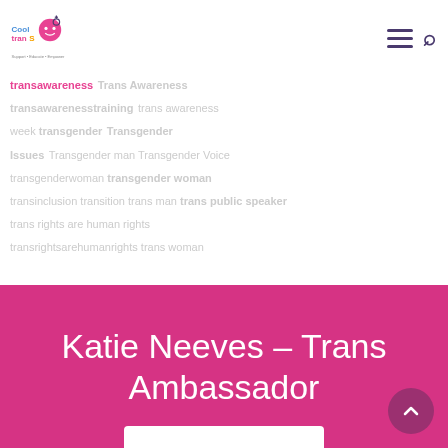[Figure (logo): Cool Trans logo with colorful text and tagline 'Support • Educate • Empower']
transawareness Trans Awareness transawarenesstraining trans awareness week transgender Transgender Issues Transgender man Transgender Voice transgenderwoman transgender woman transinclusion transition trans man trans public speaker trans rights are human rights transrightsarehumanrights trans woman
Katie Neeves – Trans Ambassador